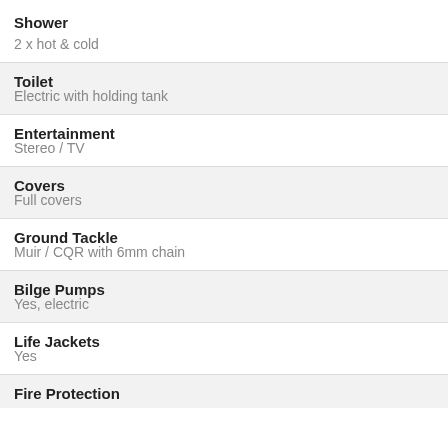Shower
2 x hot & cold
Toilet
Electric with holding tank
Entertainment
Stereo / TV
Covers
Full covers
Ground Tackle
Muir / CQR with 6mm chain
Bilge Pumps
Yes, electric
Life Jackets
Yes
Fire Protection